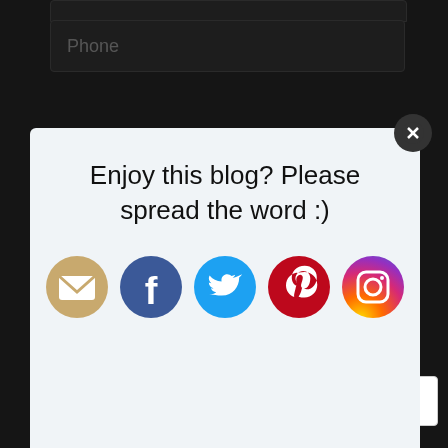Phone
[Figure (screenshot): A popup overlay on a dark website background, containing the text 'Enjoy this blog? Please spread the word :)' with social media icons (email, Facebook, Twitter, Pinterest, Instagram) and a close button.]
Enjoy this blog? Please spread the word :)